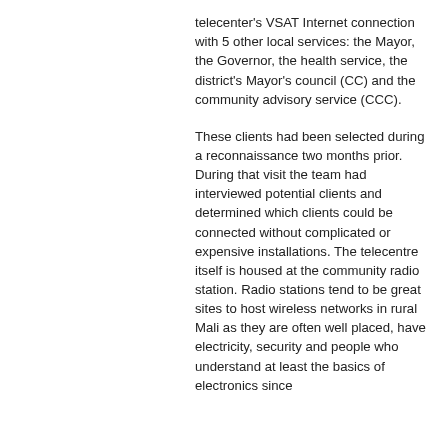telecenter's VSAT Internet connection with 5 other local services: the Mayor, the Governor, the health service, the district's Mayor's council (CC) and the community advisory service (CCC).
These clients had been selected during a reconnaissance two months prior. During that visit the team had interviewed potential clients and determined which clients could be connected without complicated or expensive installations. The telecentre itself is housed at the community radio station. Radio stations tend to be great sites to host wireless networks in rural Mali as they are often well placed, have electricity, security and people who understand at least the basics of electronics since...